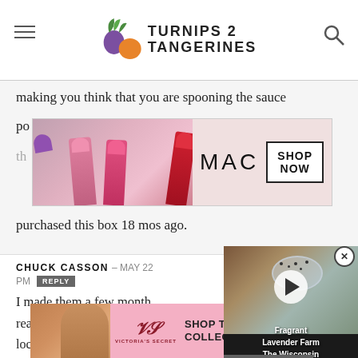Turnips 2 Tangerines
making you think that you are spooning the sauce
[Figure (photo): MAC cosmetics advertisement with lipsticks and SHOP NOW button]
purchased this box 18 mos ago.
CHUCK CASSON – MAY 22 PM REPLY
I made them a few months ago and really enjoyed them. Unfortunately, I'm unable to locate a single box of York peppermint paddie...
[Figure (screenshot): Video overlay showing Fragrant Lavender Farm The Wisconsin Series with play button]
[Figure (photo): Victoria's Secret advertisement with SHOP THE COLLECTION and SHOP NOW buttons]